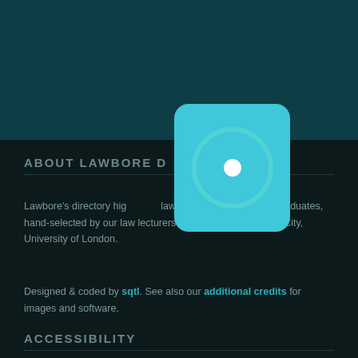[Figure (illustration): Teal rounded rectangle icon with concentric circle ring and center dot, overlapping the top and bottom background sections]
ABOUT LAWBORE D
Lawbore's directory highlights law-related sites for undergraduates, hand-selected by our law lecturers at the City Law School, City, University of London.
Designed & coded by sqtl. See also our additional credits for images and software.
ACCESSIBILITY